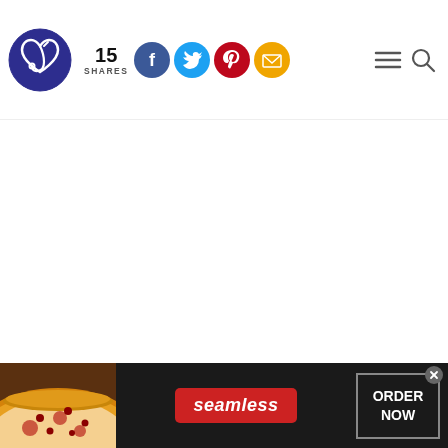[Figure (logo): Dark blue circular logo with a heart and fishing hook design]
15 SHARES
[Figure (infographic): Social share buttons: Facebook (blue circle with f), Twitter (light blue circle with bird), Pinterest (red circle with P), Email (yellow/gold circle with envelope)]
[Figure (infographic): Hamburger menu icon and search magnifying glass icon on the right side of the header]
[Figure (photo): Advertisement banner for Seamless food delivery showing pizza slices on the left, Seamless brand name in red badge in center, and ORDER NOW button on the right with a close X button]